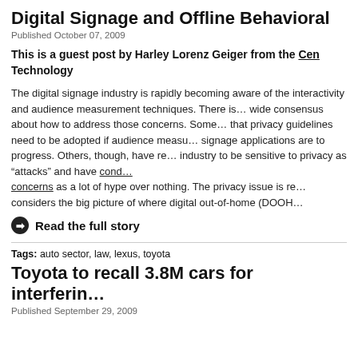Digital Signage and Offline Behavioral
Published October 07, 2009
This is a guest post by Harley Lorenz Geiger from the Center for Democracy and Technology
The digital signage industry is rapidly becoming aware of the interactivity and audience measurement techniques. There is a wide consensus about how to address those concerns. Some that privacy guidelines need to be adopted if audience measurement signage applications are to progress. Others, though, have re industry to be sensitive to privacy as "attacks" and have condemned concerns as a lot of hype over nothing. The privacy issue is re considers the big picture of where digital out-of-home (DOOH
Read the full story
Tags: auto sector, law, lexus, toyota
Toyota to recall 3.8M cars for interfering
Published September 29, 2009